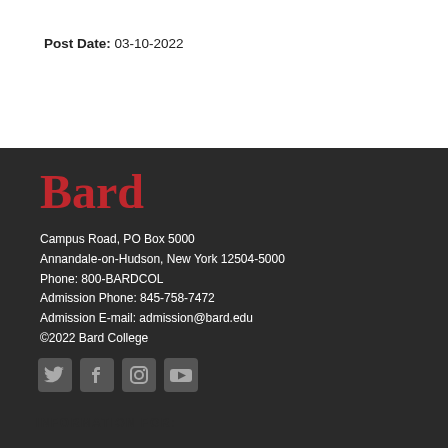Post Date: 03-10-2022
[Figure (logo): Bard College logo — large red serif 'Bard' wordmark]
Campus Road, PO Box 5000
Annandale-on-Hudson, New York 12504-5000
Phone: 800-BARDCOL
Admission Phone: 845-758-7472
Admission E-mail: admission@bard.edu
©2022 Bard College
[Figure (illustration): Social media icons: Twitter, Facebook, Instagram, YouTube — grey on dark background]
INFORMATION FOR: